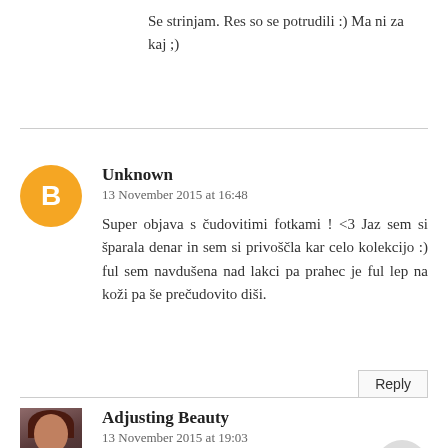Se strinjam. Res so se potrudili :) Ma ni za kaj ;)
Unknown
13 November 2015 at 16:48
Super objava s čudovitimi fotkami ! <3 Jaz sem si šparala denar in sem si privoščla kar celo kolekcijo :) ful sem navdušena nad lakci pa prahec je ful lep na koži pa še prečudovito diši.
Reply
Adjusting Beauty
13 November 2015 at 19:03
Hvala :) Je kar celotna kolekcija čudovita, res je. Jaz sem vzela sicer samo nekaj kosov, ker vem da drugih ne bi toliko